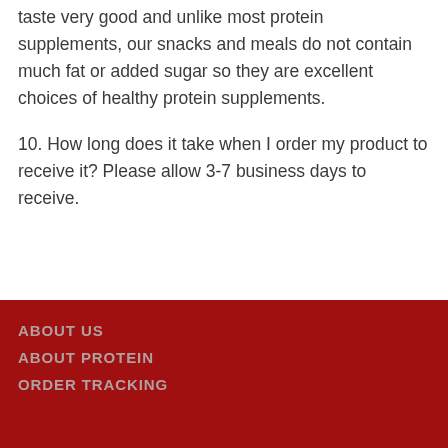taste very good and unlike most protein supplements, our snacks and meals do not contain much fat or added sugar so they are excellent choices of healthy protein supplements.
10. How long does it take when I order my product to receive it? Please allow 3-7 business days to receive.
ABOUT US
ABOUT PROTEIN
ORDER TRACKING